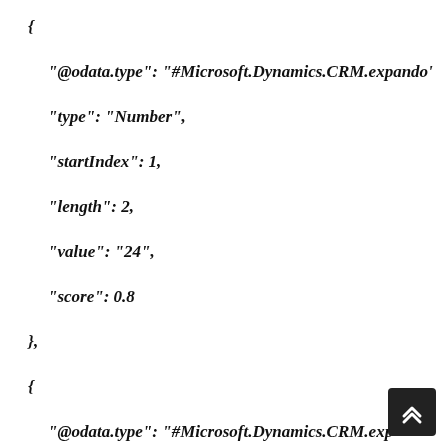{
"@odata.type": "#Microsoft.Dynamics.CRM.expando'
"type": "Number",
"startIndex": 1,
"length": 2,
"value": "24",
"score": 0.8
},
{
"@odata.type": "#Microsoft.Dynamics.CRM.exp